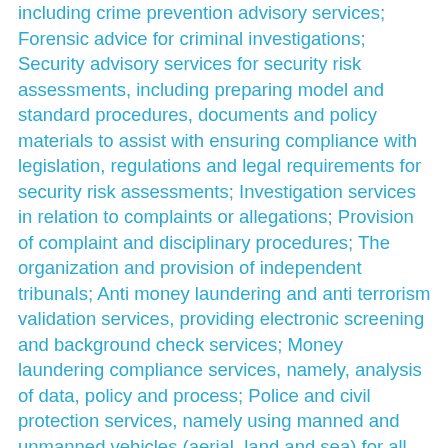including crime prevention advisory services; Forensic advice for criminal investigations; Security advisory services for security risk assessments, including preparing model and standard procedures, documents and policy materials to assist with ensuring compliance with legislation, regulations and legal requirements for security risk assessments; Investigation services in relation to complaints or allegations; Provision of complaint and disciplinary procedures; The organization and provision of independent tribunals; Anti money laundering and anti terrorism validation services, providing electronic screening and background check services; Money laundering compliance services, namely, analysis of data, policy and process; Police and civil protection services, namely using manned and unmanned vehicles (aerial, land and sea) for all real estate, communities and cities, namely for smart and sustainable real estate, communities, cities, including related infrastructure and structures, but not limited to; Community crime solution services, namely